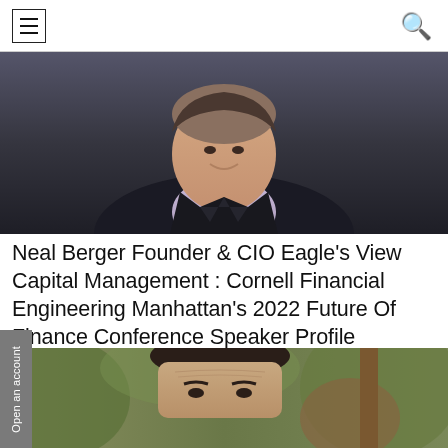[Figure (photo): Professional headshot of a man in a dark suit and light lavender dress shirt, smiling, photographed against a dark blurred background.]
Neal Berger Founder & CIO Eagle's View Capital Management : Cornell Financial Engineering Manhattan's 2022 Future Of Finance Conference Speaker Profile
READ MORE
[Figure (photo): Close-up photo of a man with dark hair, photographed outdoors with greenery and trees in the background.]